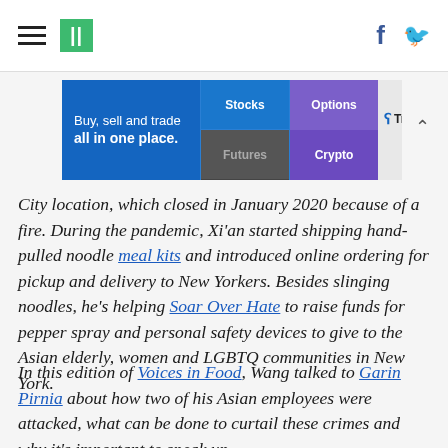HuffPost navigation header with hamburger menu, logo, Facebook and Twitter icons
[Figure (other): TradeStation advertisement banner: Buy, sell and trade all in one place. Stocks, Options, Futures, Crypto. TradeStation logo with Learn More button.]
City location, which closed in January 2020 because of a fire. During the pandemic, Xi’an started shipping hand-pulled noodle meal kits and introduced online ordering for pickup and delivery to New Yorkers. Besides slinging noodles, he’s helping Soar Over Hate to raise funds for pepper spray and personal safety devices to give to the Asian elderly, women and LGBTQ communities in New York.
In this edition of Voices in Food, Wang talked to Garin Pirnia about how two of his Asian employees were attacked, what can be done to curtail these crimes and why it’s important to speak up.